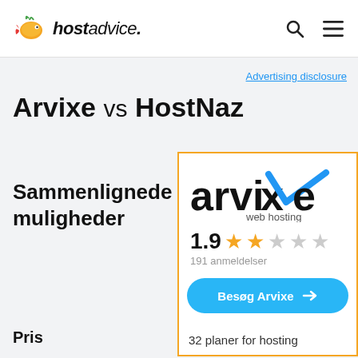hostadvice.
Advertising disclosure
Arvixe vs HostNaz
Sammenlignede muligheder
[Figure (logo): Arvixe web hosting logo with blue checkmark]
1.9 ★★☆☆☆ 191 anmeldelser
Besøg Arvixe
Pris
32 planer for hosting